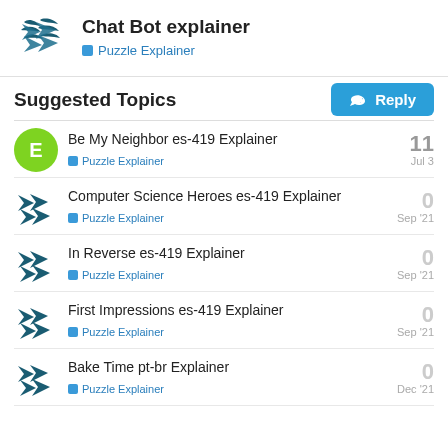Chat Bot explainer — Puzzle Explainer
Suggested Topics
Be My Neighbor es-419 Explainer — Puzzle Explainer — 11 — Jul 3
Computer Science Heroes es-419 Explainer — Puzzle Explainer — 0 — Sep '21
In Reverse es-419 Explainer — Puzzle Explainer — 0 — Sep '21
First Impressions es-419 Explainer — Puzzle Explainer — 0 — Sep '21
Bake Time pt-br Explainer — Puzzle Explainer — 0 — Dec '21